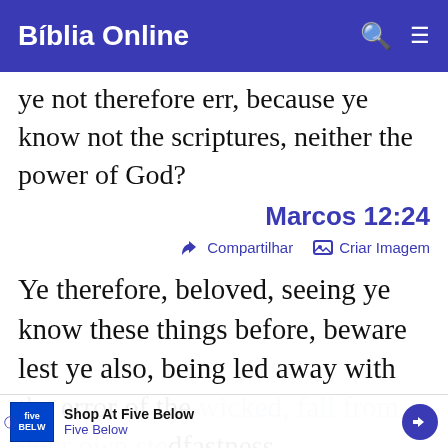Bíblia Online
ye not therefore err, because ye know not the scriptures, neither the power of God?
Marcos 12:24
Compartilhar   Criar Imagem
Ye therefore, beloved, seeing ye know these things before, beware lest ye also, being led away with the error of the wicked, fall from your own stedfastness.
grow in grace, and in the knowledge of our Lord and Saviour Jesus Christ. To
Shop At Five Below
Five Below